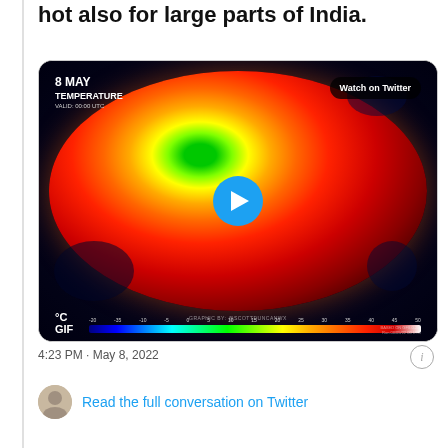hot also for large parts of India.
[Figure (map): Twitter embedded video/GIF showing a global temperature map dated 8 MAY, with a color scale from -20 to 50°C. The globe shows India and surrounding regions in deep red/orange indicating extreme heat. A blue play button is centered on the image. Text: 'Watch on Twitter', 'TEMPERATURE', 'VALID: 00:00 UTC', '°C', 'GIF', 'GRAPHIC BY: @SCOTTDUNCANWX', 'BASED ON GFS 0.25°']
4:23 PM · May 8, 2022
Read the full conversation on Twitter